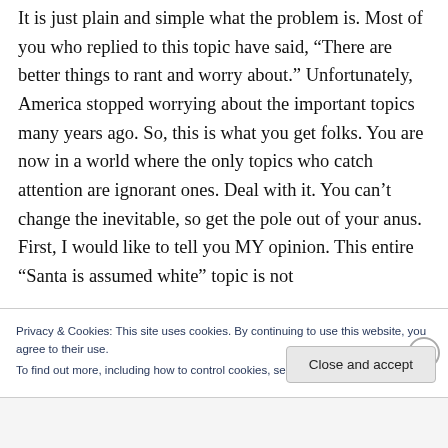It is just plain and simple what the problem is. Most of you who replied to this topic have said, “There are better things to rant and worry about.” Unfortunately, America stopped worrying about the important topics many years ago. So, this is what you get folks. You are now in a world where the only topics who catch attention are ignorant ones. Deal with it. You can’t change the inevitable, so get the pole out of your anus. First, I would like to tell you MY opinion. This entire “Santa is assumed white” topic is not
Privacy & Cookies: This site uses cookies. By continuing to use this website, you agree to their use.
To find out more, including how to control cookies, see here: Cookie Policy
Close and accept